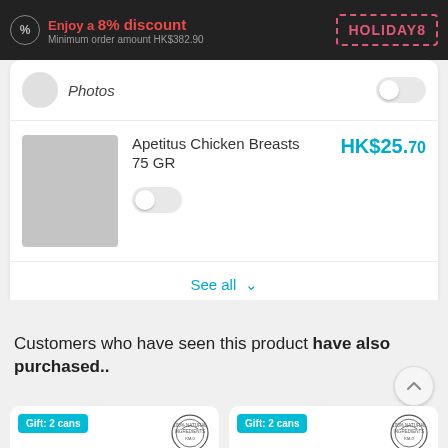Enjoy a 8% discount — Minimum order amount HK$382.90 | HOLIDAY8
Photos
Apetitus Chicken Breasts 75 GR — HK$25.70
See all
Customers who have seen this product have also purchased..
[Figure (screenshot): Gift: 2 cans badge with 100% Natural Ingredients KM.0 stamp on product card]
[Figure (screenshot): Gift: 2 cans badge with 100% Natural Ingredients KM.0 stamp on product card]